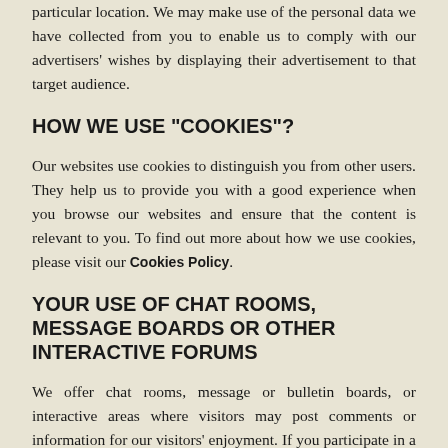particular location. We may make use of the personal data we have collected from you to enable us to comply with our advertisers' wishes by displaying their advertisement to that target audience.
HOW WE USE "COOKIES"?
Our websites use cookies to distinguish you from other users. They help us to provide you with a good experience when you browse our websites and ensure that the content is relevant to you. To find out more about how we use cookies, please visit our Cookies Policy.
YOUR USE OF CHAT ROOMS, MESSAGE BOARDS OR OTHER INTERACTIVE FORUMS
We offer chat rooms, message or bulletin boards, or interactive areas where visitors may post comments or information for our visitors' enjoyment. If you participate in a chat room, bulletin or message board, or other interactive area where personal data may be posted on our websites, in addition to reading this privacy policy be sure to check our chat room rules before entering, as you will be bound by them. As you know, anything